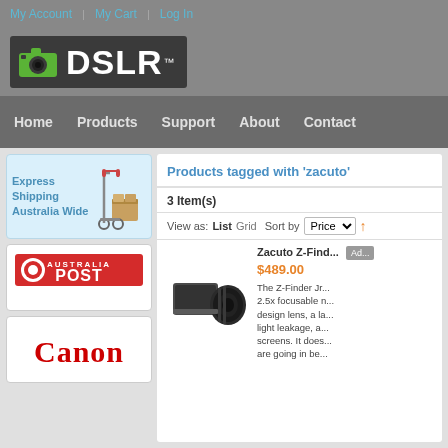My Account | My Cart | Log In
[Figure (logo): DSLR store logo with camera icon on dark background]
Home   Products   Support   About   Contact
[Figure (illustration): Express Shipping Australia Wide banner with hand truck and boxes]
[Figure (logo): Australia Post logo]
[Figure (logo): Canon logo]
Products tagged with 'zacuto'
3 Item(s)
View as: List  Grid  Sort by  Price
Zacuto Z-Find...
$489.00
[Figure (photo): Zacuto Z-Finder product photo - camera viewfinder accessory]
The Z-Finder Jr... 2.5x focusable... design lens, a la... light leakage, a... screens. It does... are going in be...